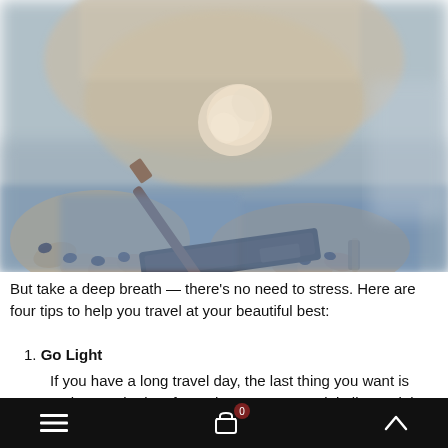[Figure (photo): Close-up photo of a person holding a makeup compact and powder brush with a large fluffy head. The person has dark blue/black nail polish, is wearing jeans and a light top, with a bracelet visible. Background is blurred.]
But take a deep breath — there's no need to stress. Here are four tips to help you travel at your beautiful best:
1. Go Light
If you have a long travel day, the last thing you want is makeup caked on for 18 hours as you wait in lines, sit in uncomfortable
≡  [cart 0]  ∧